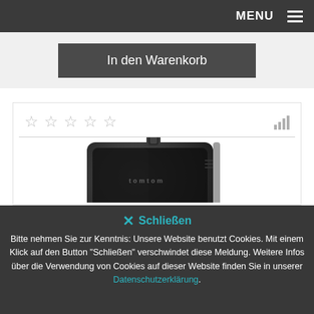MENU
In den Warenkorb
[Figure (photo): Product photo of a GPS navigation device with a suction cup mount, shown from a low angle against a white background]
✕ Schließen
Bitte nehmen Sie zur Kenntnis: Unsere Website benutzt Cookies. Mit einem Klick auf den Button "Schließen" verschwindet diese Meldung. Weitere Infos über die Verwendung von Cookies auf dieser Website finden Sie in unserer Datenschutzerklärung.